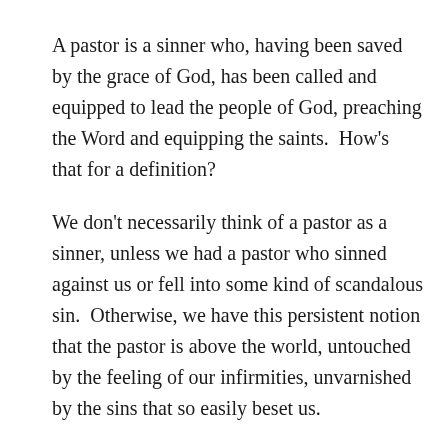A pastor is a sinner who, having been saved by the grace of God, has been called and equipped to lead the people of God, preaching the Word and equipping the saints.  How's that for a definition?
We don't necessarily think of a pastor as a sinner, unless we had a pastor who sinned against us or fell into some kind of scandalous sin.  Otherwise, we have this persistent notion that the pastor is above the world, untouched by the feeling of our infirmities, unvarnished by the sins that so easily beset us.
This view of the person of the pastor is false.  We know this. And we begin to be fair in our...